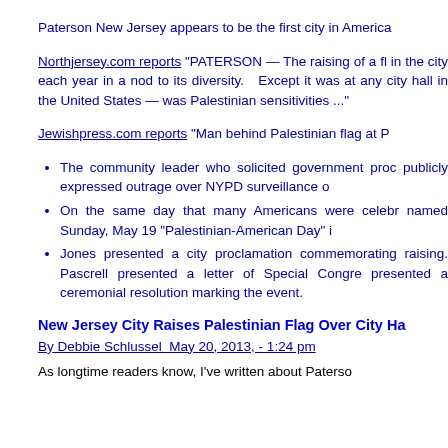Paterson New Jersey appears to be the first city in America
Northjersersey.com reports “PATERSON — The raising of a fl in the city each year in a nod to its diversity.   Except it was at any city hall in the United States — was Palestinian sensitivities …”
Jewishpress.com reports “Man behind Palestinian flag at P
The community leader who solicited government proc publicly expressed outrage over NYPD surveillance o
On the same day that many Americans were celebr named Sunday, May 19 “Palestinian-American Day” i
Jones presented a city proclamation commemorating raising. Pascrell presented a letter of Special Congre presented a ceremonial resolution marking the event.
New Jersey City Raises Palestinian Flag Over City Ha
By Debbie Schlussel  May 20, 2013, - 1:24 pm
As longtime readers know, I’ve written about Paterso